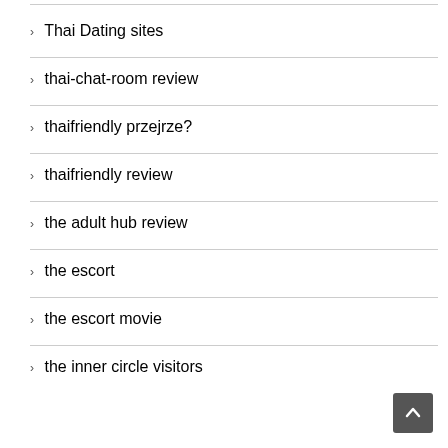Thai Dating sites
thai-chat-room review
thaifriendly przejrze?
thaifriendly review
the adult hub review
the escort
the escort movie
the inner circle visitors